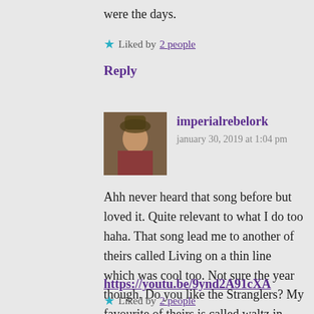were the days.
★ Liked by 2 people
Reply
imperialrebelork
january 30, 2019 at 1:04 pm
Ahh never heard that song before but loved it. Quite relevant to what I do too haha. That song lead me to another of theirs called Living on a thin line which was cool too. Not sure the year though. Do you like the Stranglers? My favourite of theirs is called waltz in black https://youtu.be/9ynd2A91cXA
★ Liked by 2 people